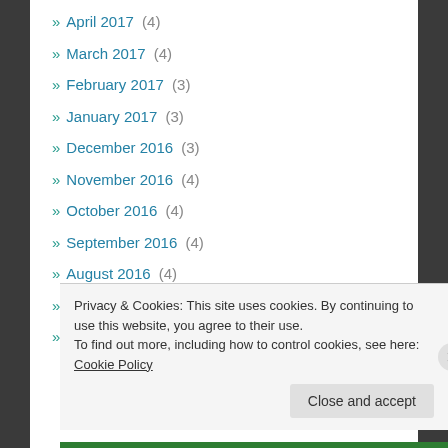» April 2017 (4)
» March 2017 (4)
» February 2017 (3)
» January 2017 (3)
» December 2016 (3)
» November 2016 (4)
» October 2016 (4)
» September 2016 (4)
» August 2016 (4)
» July 2016 (4)
» June 2016 (3)
Privacy & Cookies: This site uses cookies. By continuing to use this website, you agree to their use. To find out more, including how to control cookies, see here: Cookie Policy